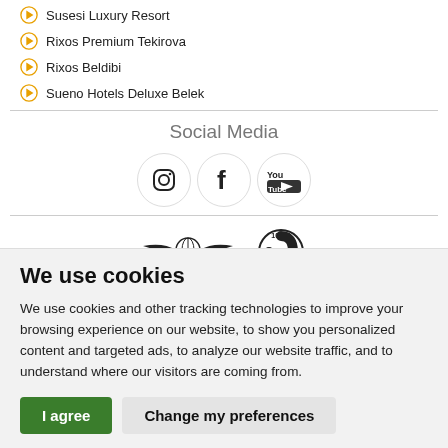Susesi Luxury Resort
Rixos Premium Tekirova
Rixos Beldibi
Sueno Hotels Deluxe Belek
Social Media
[Figure (illustration): Three social media icons: Instagram (camera icon), Facebook (f logo), YouTube (play button with 'You Tube' text), each in a light circular border.]
[Figure (logo): Travel agency logos: wings with globe icon and a circular certification logo with number 10660.]
We use cookies
We use cookies and other tracking technologies to improve your browsing experience on our website, to show you personalized content and targeted ads, to analyze our website traffic, and to understand where our visitors are coming from.
I agree
Change my preferences